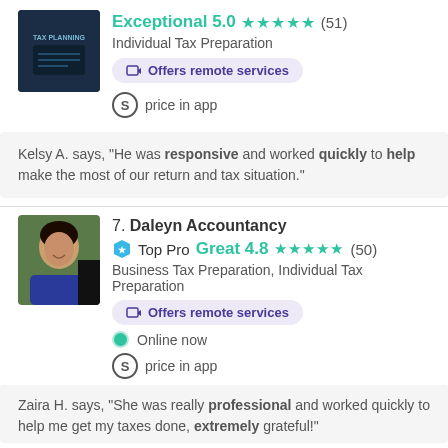Exceptional 5.0 ★★★★★ (51)
Individual Tax Preparation
Offers remote services
price in app
Kelsy A. says, "He was responsive and worked quickly to help make the most of our return and tax situation."
7. Daleyn Accountancy
Top Pro Great 4.8 ★★★★★ (50)
Business Tax Preparation, Individual Tax Preparation
Offers remote services
Online now
price in app
Zaira H. says, "She was really professional and worked quickly to help me get my taxes done, extremely grateful!"